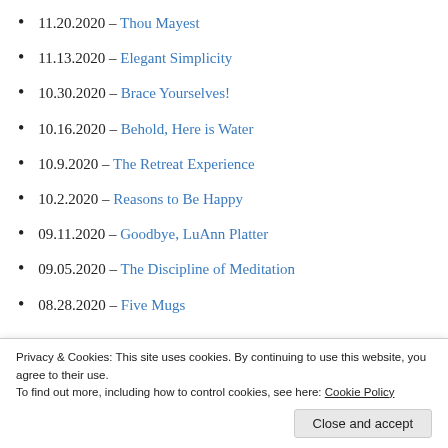11.20.2020 – Thou Mayest
11.13.2020 – Elegant Simplicity
10.30.2020 – Brace Yourselves!
10.16.2020 – Behold, Here is Water
10.9.2020 – The Retreat Experience
10.2.2020 – Reasons to Be Happy
09.11.2020 – Goodbye, LuAnn Platter
09.05.2020 – The Discipline of Meditation
08.28.2020 – Five Mugs
Privacy & Cookies: This site uses cookies. By continuing to use this website, you agree to their use.
To find out more, including how to control cookies, see here: Cookie Policy
Close and accept